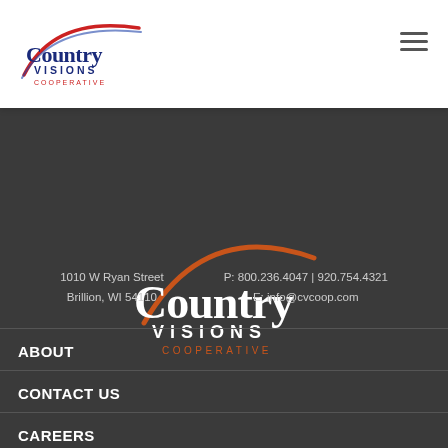[Figure (logo): Country Visions Cooperative logo in top-left header, small version with red arc, blue Country text, navy VISIONS text, red COOPERATIVE text]
[Figure (logo): Country Visions Cooperative logo centered in dark footer area, large version with orange arc, white Country text, white VISIONS text, orange COOPERATIVE text]
1010 W Ryan Street
Brillion, WI 54110
P: 800.236.4047 | 920.754.4321
E: info@cvcoop.com
ABOUT
CONTACT US
CAREERS